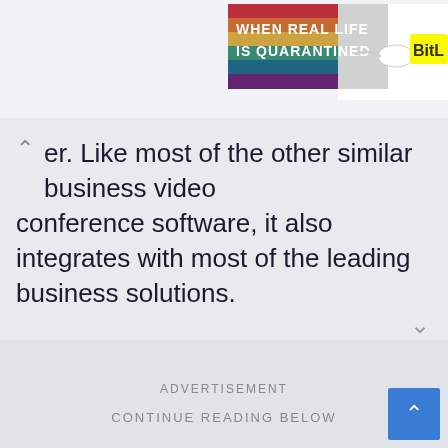[Figure (screenshot): Partial colorful rainbow advertisement banner in top right corner with text 'WHEN REAL LIFE IS QUARANTINED' and 'BitL' logo]
er. Like most of the other similar business video conference software, it also integrates with most of the leading business solutions.
[Figure (illustration): Android robot icon and Apple logo icon side by side]
SHOW DETAILS
ADVERTISEMENT
CONTINUE READING BELOW